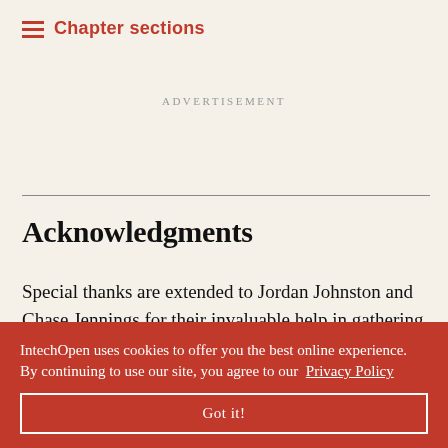Chapter sections
Advertisement
Acknowledgments
Special thanks are extended to Jordan Johnston and Chase Jennings for their invaluable help in gathering data for this project. The authors also wish to thank Qingbin Cui for his assistance.
IntechOpen uses cookies to offer you the best online experience. By continuing to use our site, you agree to our Privacy Policy
Got it!